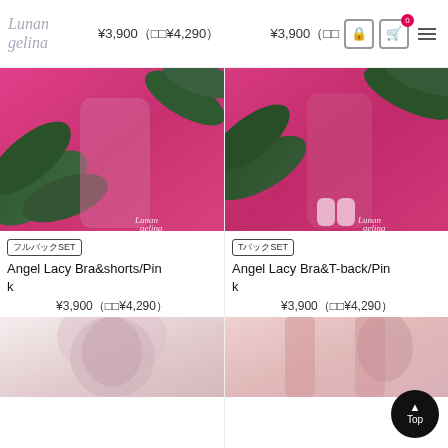Lunan gelina ¥3,900(□□¥4,290) ¥3,900(□□¥4,290)
[Figure (photo): Model wearing pink lingerie bra and shorts set against pink background with tropical leaves. Lunan gelina watermark.]
フルバックSET
Angel Lacy Bra&shorts/Pink
¥3,900(□□¥4,290)
[Figure (photo): Model wearing pink lingerie bra and T-back set against pink background with tropical leaves. Lunan gelina watermark.]
TバックSET
Angel Lacy Bra&T-back/Pink
¥3,900(□□¥4,290)
[Figure (photo): Partial view of model in lingerie with white arch background and pink tones.]
[Figure (photo): Partial view of model in lingerie with pink curtain background. Top button visible.]